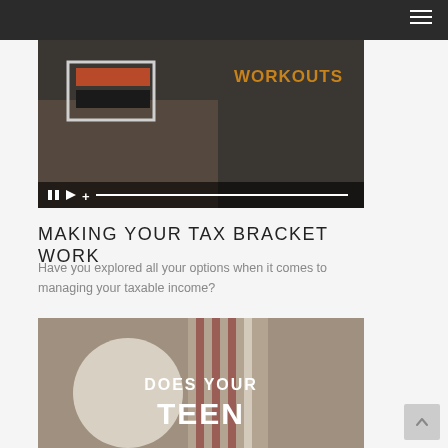[Figure (screenshot): Dark navigation bar with hamburger menu icon in top right corner]
[Figure (screenshot): Video thumbnail showing a hand holding items with 'WORKOUTS' text overlay in orange, with video playback controls at the bottom (pause, play, plus icons and a progress bar)]
MAKING YOUR TAX BRACKET WORK
Have you explored all your options when it comes to managing your taxable income?
[Figure (photo): Thumbnail image showing a mug and striped bag with 'DOES YOUR TEEN' text overlay in white]